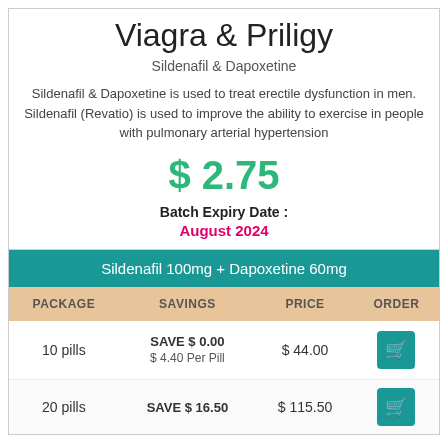Viagra & Priligy
Sildenafil & Dapoxetine
Sildenafil & Dapoxetine is used to treat erectile dysfunction in men. Sildenafil (Revatio) is used to improve the ability to exercise in people with pulmonary arterial hypertension
$ 2.75
Batch Expiry Date :
August 2024
| PACKAGE | SAVINGS | PRICE | ORDER |
| --- | --- | --- | --- |
| 10 pills | SAVE $ 0.00
$ 4.40 Per Pill | $ 44.00 | [cart] |
| 20 pills | SAVE $ 16.50 | $ 115.50 | [cart] |